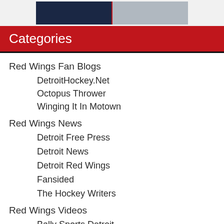[Figure (photo): Partial image showing hockey-related imagery with dark navy blue and gray sections]
Categories
Red Wings Fan Blogs
DetroitHockey.Net
Octopus Thrower
Winging It In Motown
Red Wings News
Detroit Free Press
Detroit News
Detroit Red Wings
Fansided
The Hockey Writers
Red Wings Videos
Bally Sports Detroit